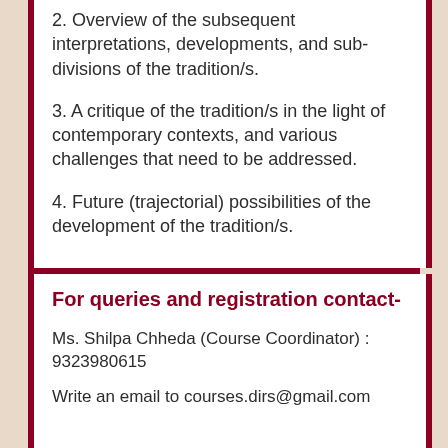2. Overview of the subsequent interpretations, developments, and sub-divisions of the tradition/s.
3. A critique of the tradition/s in the light of contemporary contexts, and various challenges that need to be addressed.
4. Future (trajectorial) possibilities of the development of the tradition/s.
For queries and registration contact-
Ms. Shilpa Chheda (Course Coordinator) : 9323980615
Write an email to courses.dirs@gmail.com